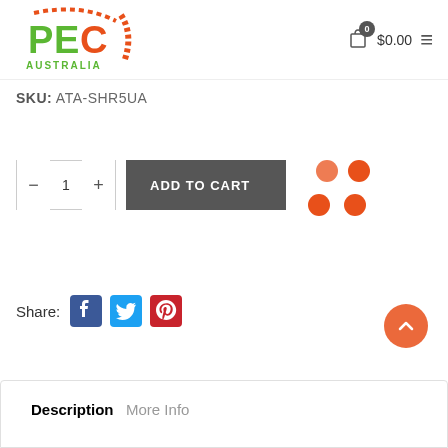[Figure (logo): PEC Australia logo with green and orange design]
0  $0.00  ≡
SKU: ATA-SHR5UA
[Figure (other): Quantity selector with minus, 1, plus buttons and ADD TO CART button, with orange loading spinner dots]
Share:
[Figure (other): Facebook, Twitter, Pinterest share icons]
[Figure (other): Orange scroll-to-top arrow button]
Description   More Info